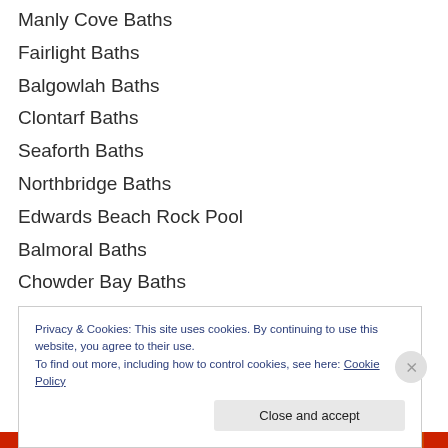Manly Cove Baths
Fairlight Baths
Balgowlah Baths
Clontarf Baths
Seaforth Baths
Northbridge Baths
Edwards Beach Rock Pool
Balmoral Baths
Chowder Bay Baths
McCallum Pool Cremorne Point
Manns Point Baths
Privacy & Cookies: This site uses cookies. By continuing to use this website, you agree to their use. To find out more, including how to control cookies, see here: Cookie Policy
Close and accept